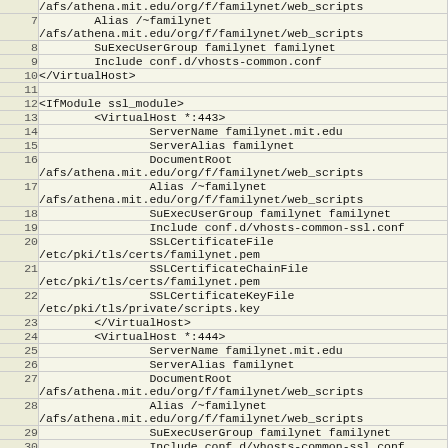| line | code |
| --- | --- |
|  | /afs/athena.mit.edu/org/f/familynet/web_scripts |
| 7 |         Alias /~familynet
/afs/athena.mit.edu/org/f/familynet/web_scripts |
| 8 |         SuExecUserGroup familynet familynet |
| 9 |         Include conf.d/vhosts-common.conf |
| 10 | </VirtualHost> |
| 11 |  |
| 12 | <IfModule ssl_module> |
| 13 |         <VirtualHost *:443> |
| 14 |                 ServerName familynet.mit.edu |
| 15 |                 ServerAlias familynet |
| 16 |                 DocumentRoot
/afs/athena.mit.edu/org/f/familynet/web_scripts |
| 17 |                 Alias /~familynet
/afs/athena.mit.edu/org/f/familynet/web_scripts |
| 18 |                 SuExecUserGroup familynet familynet |
| 19 |                 Include conf.d/vhosts-common-ssl.conf |
| 20 |                 SSLCertificateFile
/etc/pki/tls/certs/familynet.pem |
| 21 |                 SSLCertificateChainFile
/etc/pki/tls/certs/familynet.pem |
| 22 |                 SSLCertificateKeyFile
/etc/pki/tls/private/scripts.key |
| 23 |         </VirtualHost> |
| 24 |         <VirtualHost *:444> |
| 25 |                 ServerName familynet.mit.edu |
| 26 |                 ServerAlias familynet |
| 27 |                 DocumentRoot
/afs/athena.mit.edu/org/f/familynet/web_scripts |
| 28 |                 Alias /~familynet
/afs/athena.mit.edu/org/f/familynet/web_scripts |
| 29 |                 SuExecUserGroup familynet familynet |
| 30 |                 Include conf.d/vhosts-common-ssl.conf |
| 31 |                 SSLCertificateFile ... |